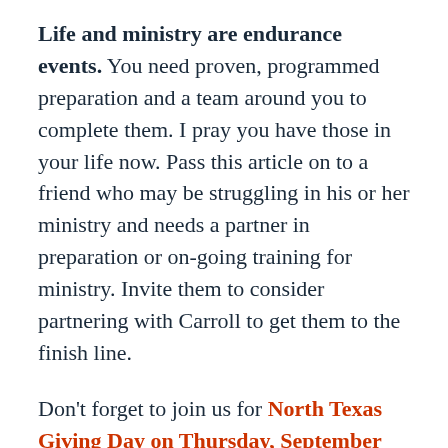Life and ministry are endurance events. You need proven, programmed preparation and a team around you to complete them. I pray you have those in your life now. Pass this article on to a friend who may be struggling in his or her ministry and needs a partner in preparation or on-going training for ministry. Invite them to consider partnering with Carroll to get them to the finish line.
Don't forget to join us for North Texas Giving Day on Thursday, September 17. Our goal is $150,000.00 for the day. (Last